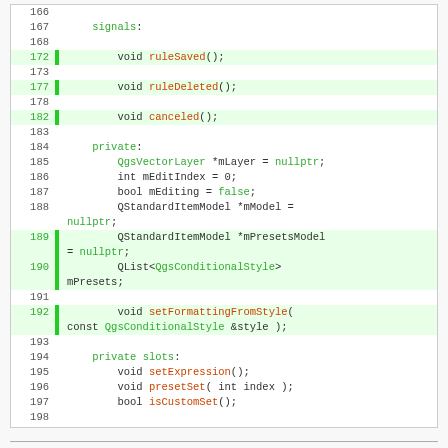[Figure (screenshot): Code editor screenshot showing C++ header file lines 166-201 with syntax highlighting. Green line numbers for modified lines (172, 177, 182, 189, 190, 192), green vertical gutter bars, green keywords and types, red preprocessor directives.]